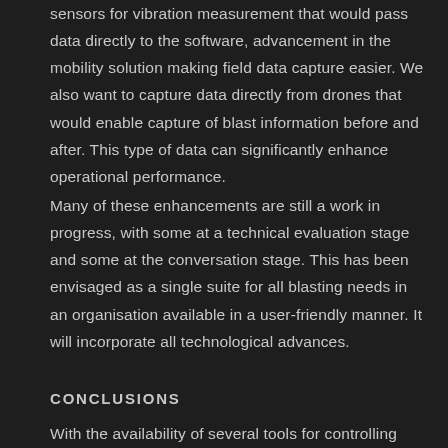sensors for vibration measurement that would pass data directly to the software, advancement in the mobility solution making field data capture easier. We also want to capture data directly from drones that would enable capture of blast information before and after. This type of data can significantly enhance operational performance.
Many of these enhancements are still a work in progress, with some at a technical evaluation stage and some at the conversation stage. This has been envisaged as a single suite for all blasting needs in an organisation available in a user-friendly manner. It will incorporate all technological advances.
CONCLUSIONS
With the availability of several tools for controlling blasting